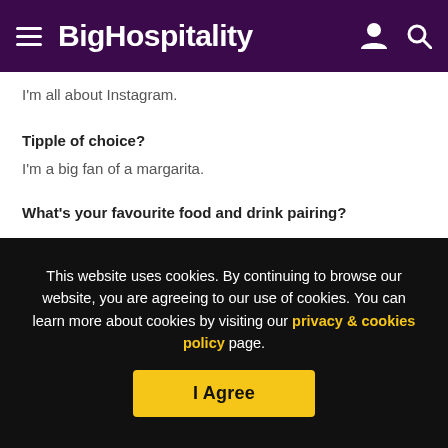BigHospitality
I'm all about Instagram.
Tipple of choice?
I'm a big fan of a margarita.
What's your favourite food and drink pairing?
Chip shop fish and chips and champagne.
[Figure (photo): Partial image strip showing 'The Big...' text overlay on a dark food/hospitality themed image]
This website uses cookies. By continuing to browse our website, you are agreeing to our use of cookies. You can learn more about cookies by visiting our privacy & cookies policy page.